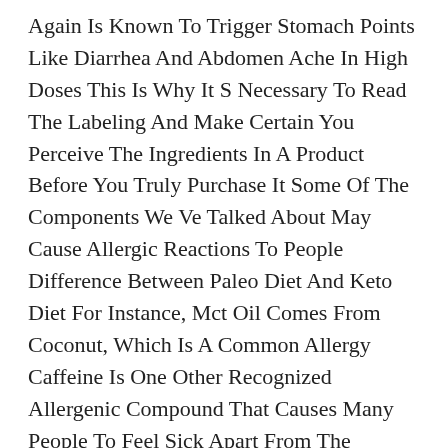Again Is Known To Trigger Stomach Points Like Diarrhea And Abdomen Ache In High Doses This Is Why It S Necessary To Read The Labeling And Make Certain You Perceive The Ingredients In A Product Before You Truly Purchase It Some Of The Components We Ve Talked About May Cause Allergic Reactions To People Difference Between Paleo Diet And Keto Diet For Instance, Mct Oil Comes From Coconut, Which Is A Common Allergy Caffeine Is One Other Recognized Allergenic Compound That Causes Many People To Feel Sick Apart From The Typical Jittery Feeling.
If You Keep Your Intake In Examine, You Could Still Notice A Rise In Weight Due To Glycogen Shops Refilling Many People Find They Persist With Keto Or A Low Carb Food Regimen Simply Because It Makes Them Really Feel Higher If You Re Experiencing Hair Loss Inside Five